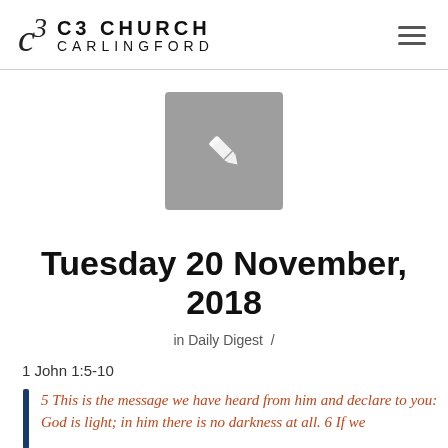C3 Church Carlingford
[Figure (illustration): Grey square icon with a white pencil/edit icon in the center]
Tuesday 20 November, 2018
in Daily Digest /
1 John 1:5-10
5 This is the message we have heard from him and declare to you: God is light; in him there is no darkness at all. 6 If we